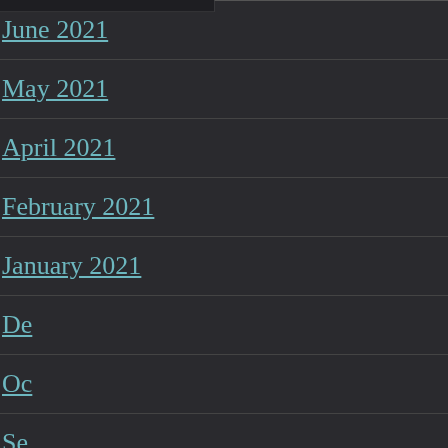June 2021
May 2021
April 2021
February 2021
January 2021
De...
Oc...
Se...
Ju...
Privacy & Cookies: This site uses cookies. By continuing to use this website, you agree to their use. To find out more, including how to control cookies, see here: Cookie Policy
Close and accept